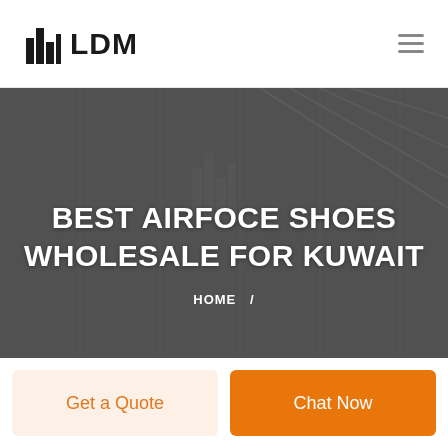LDM
[Figure (screenshot): Hero banner with dark gray/architectural background showing building interior. Large white uppercase text reads: BEST AIRFOCE SHOES WHOLESALE FOR KUWAIT. Below it a breadcrumb reads: HOME /]
BEST AIRFOCE SHOES WHOLESALE FOR KUWAIT
HOME /
Get a Quote
Chat Now